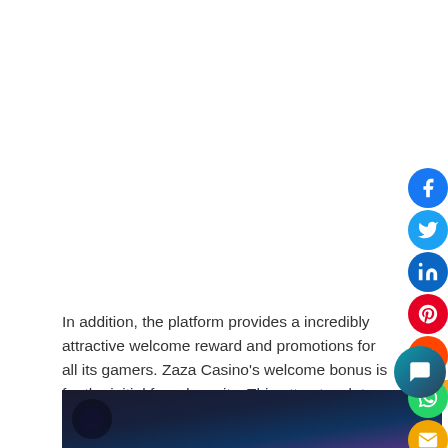In addition, the platform provides a incredibly attractive welcome reward and promotions for all its gamers. Zaza Casino's welcome bonus is for the initial four deposits. This attracts a lot more and a lot more bettors. The on line casino has a cellular version with neat graphics highlighting the purple and blue colours of Zaza Casino.
[Figure (photo): Dark atmospheric image at the bottom of the page, showing a dark blue/purple gradient background, partially visible]